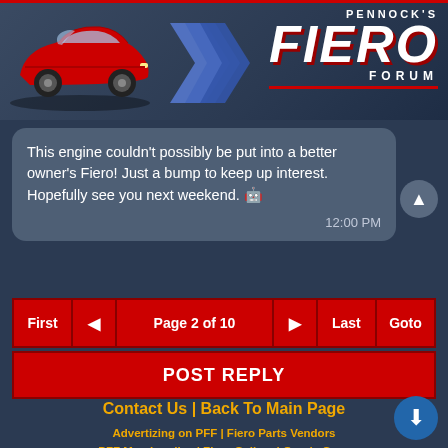[Figure (screenshot): Pennock's Fiero Forum header with red Fiero car illustration and logo with blue chevron design]
This engine couldn't possibly be put into a better owner's Fiero! Just a bump to keep up interest. Hopefully see you next weekend. 😊
12:00 PM
First ◄ Page 2 of 10 ► Last Goto
POST REPLY
Contact Us | Back To Main Page
Advertizing on PFF | Fiero Parts Vendors
PFF Merchandise | Fiero Gallery | Ogre's Cave
Real-Time Chat | Fiero Related Auctions on eBay
[Figure (logo): Pennock's Image Poster badge with auto config button]
Copyright (c) 1999, C. Pennock